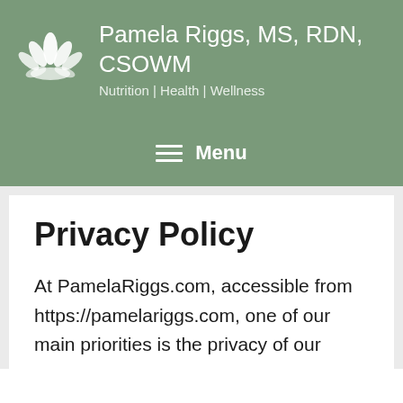Pamela Riggs, MS, RDN, CSOWM
Nutrition | Health | Wellness
Menu
Privacy Policy
At PamelaRiggs.com, accessible from https://pamelariggs.com, one of our main priorities is the privacy of our